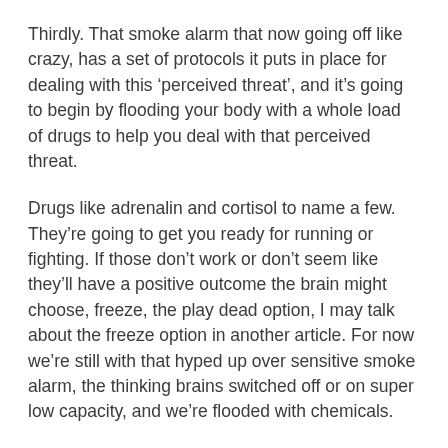Thirdly. That smoke alarm that now going off like crazy, has a set of protocols it puts in place for dealing with this ‘perceived threat’, and it’s going to begin by flooding your body with a whole load of drugs to help you deal with that perceived threat.
Drugs like adrenalin and cortisol to name a few. They’re going to get you ready for running or fighting. If those don’t work or don’t seem like they’ll have a positive outcome the brain might choose, freeze, the play dead option, I may talk about the freeze option in another article. For now we’re still with that hyped up over sensitive smoke alarm, the thinking brains switched off or on super low capacity, and we’re flooded with chemicals.